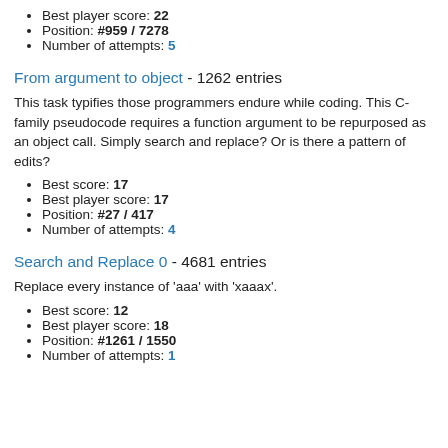Best player score: 22
Position: #959 / 7278
Number of attempts: 5
From argument to object - 1262 entries
This task typifies those programmers endure while coding. This C-family pseudocode requires a function argument to be repurposed as an object call. Simply search and replace? Or is there a pattern of edits?
Best score: 17
Best player score: 17
Position: #27 / 417
Number of attempts: 4
Search and Replace 0 - 4681 entries
Replace every instance of 'aaa' with 'xaaax'.
Best score: 12
Best player score: 18
Position: #1261 / 1550
Number of attempts: 1